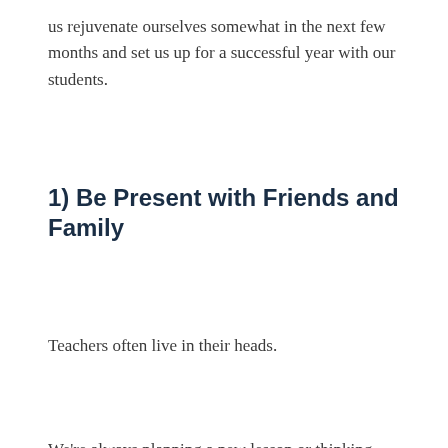us rejuvenate ourselves somewhat in the next few months and set us up for a successful year with our students.
1) Be Present with Friends and Family
Teachers often live in their heads.
We're always planning a new lesson or thinking about how to help a student or improve something from the year before.